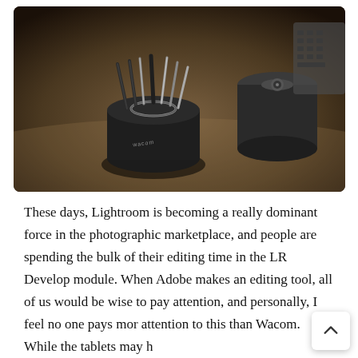[Figure (photo): A Wacom pen holder/nib case (black circular container with stylus nibs standing upright) on a desk surface, with a second cylindrical Wacom container and a keyboard in the background. Dark, moody photography.]
These days, Lightroom is becoming a really dominant force in the photographic marketplace, and people are spending the bulk of their editing time in the LR Develop module. When Adobe makes an editing tool, all of us would be wise to pay attention, and personally, I feel no one pays mor attention to this than Wacom. While the tablets may h attention to this than Wacom. While the tablets may h